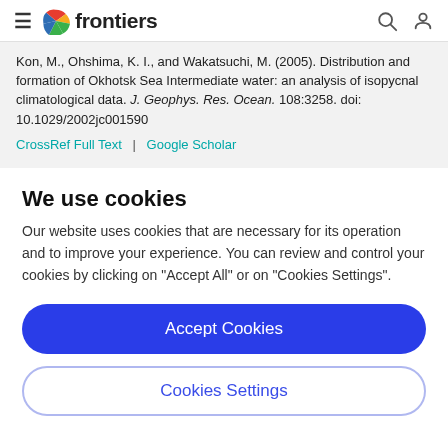frontiers
Kon, M., Ohshima, K. I., and Wakatsuchi, M. (2005). Distribution and formation of Okhotsk Sea Intermediate water: an analysis of isopycnal climatological data. J. Geophys. Res. Ocean. 108:3258. doi: 10.1029/2002jc001590
CrossRef Full Text | Google Scholar
We use cookies
Our website uses cookies that are necessary for its operation and to improve your experience. You can review and control your cookies by clicking on "Accept All" or on "Cookies Settings".
Accept Cookies
Cookies Settings